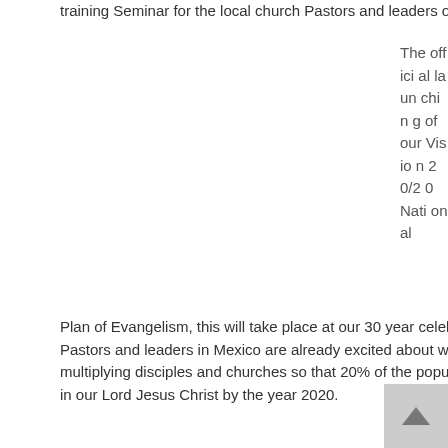training Seminar for the local church Pastors and leaders on the Challenge of Leadership.
The official launching of our Vision 20/20 National
Plan of Evangelism, this will take place at our 30 year celebration which will be held later this year. Key Pastors and leaders in Mexico are already excited about what is next as we move forward towards our goal of multiplying disciples and churches so that 20% of the population of the nation of Mexico will become believers in our Lord Jesus Christ by the year 2020.